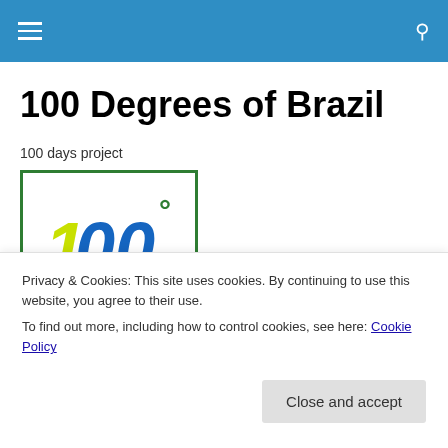100 Degrees of Brazil
100 Degrees of Brazil
100 days project
[Figure (logo): Book/project logo with '100°' in yellow and blue text and 'BRAZIL' in green on white background with green border]
Privacy & Cookies: This site uses cookies. By continuing to use this website, you agree to their use.
To find out more, including how to control cookies, see here: Cookie Policy
Close and accept